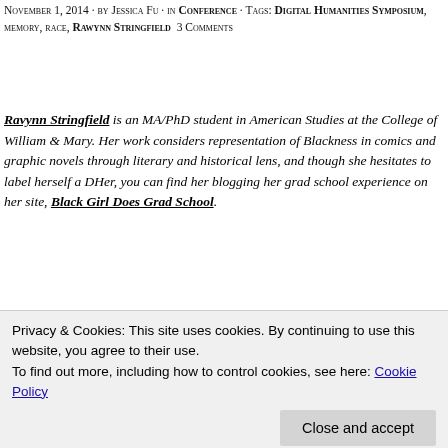November 1, 2014 · by Jessica Fu · in CONFERENCE · Tags: Digital Humanities Symposium, memory, race, Rawynn Stringfield · 3 Comments
Ravynn Stringfield is an MA/PhD student in American Studies at the College of William & Mary. Her work considers representation of Blackness in comics and graphic novels through literary and historical lens, and though she hesitates to label herself a DHer, you can find her blogging her grad school experience on her site, Black Girl Does Grad School.
I got involved with Race, Memory and the Digital Humanities Symposium (#RMDHatWM or RMDH)
[Figure (photo): Photo of Ravynn Stringfield, a young Black woman with natural hair styled up, wearing round glasses, photographed from the shoulders up.]
Privacy & Cookies: This site uses cookies. By continuing to use this website, you agree to their use.
To find out more, including how to control cookies, see here: Cookie Policy
into Liz Losh's Equality